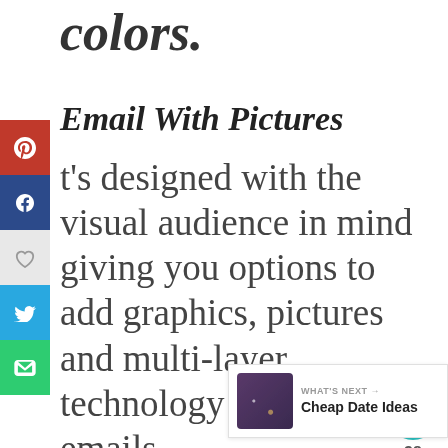colors.
Email With Pictures
t's designed with the visual audience in mind giving you options to add graphics, pictures and multi-layer technology to your emails.
[Figure (infographic): Social media share sidebar with Pinterest (red), Facebook (dark blue), heart/save (light gray), Twitter (blue), Email (green) buttons]
[Figure (infographic): Floating teal heart icon with count 38, and a share icon button]
[Figure (infographic): What's Next widget showing 'Cheap Date Ideas' with a dark thumbnail image]